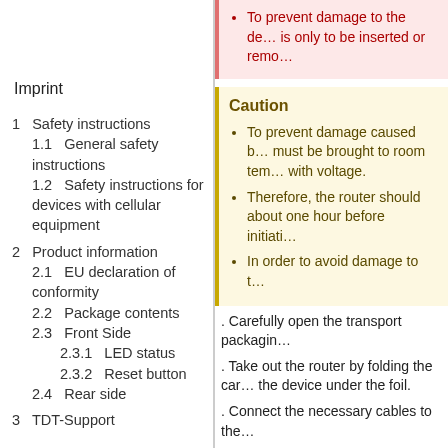To prevent damage to the de... is only to be inserted or remo...
Caution
To prevent damage caused b... must be brought to room tem... with voltage.
Therefore, the router should about one hour before initiati...
In order to avoid damage to t...
Imprint
1   Safety instructions
1.1   General safety instructions
1.2   Safety instructions for devices with cellular equipment
2   Product information
2.1   EU declaration of conformity
2.2   Package contents
2.3   Front Side
2.3.1   LED status
2.3.2   Reset button
2.4   Rear side
3   TDT-Support
Carefully open the transport packagin...
Take out the router by folding the car... the device under the foil.
Connect the necessary cables to the...